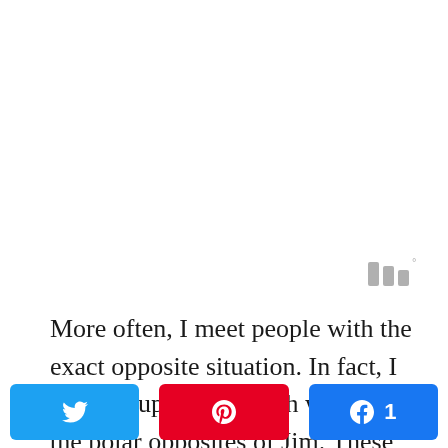[Figure (logo): Watermark or brand icon with three vertical bars and a degree symbol, shown in light gray]
More often, I meet people with the exact opposite situation. In fact, I met a couple last month who were the polar opposites of Jim. These young people were in
[Figure (infographic): Social share buttons row: Twitter (blue), Pinterest (red), Facebook (blue with count 1)]